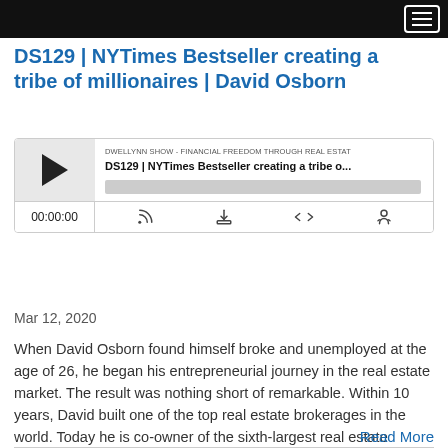(navigation bar with hamburger menu)
DS129 | NYTimes Bestseller creating a tribe of millionaires | David Osborn
[Figure (screenshot): Podcast player widget showing DWELLYNN SHOW - FINANCIAL FREEDOM THROUGH REAL ESTATE, episode DS129 | NYTimes Bestseller creating a tribe o..., with play button, progress bar, time 00:00:00, and control icons for subscribe, download, embed, and sharing.]
Mar 12, 2020
When David Osborn found himself broke and unemployed at the age of 26, he began his entrepreneurial journey in the real estate market. The result was nothing short of remarkable. Within 10 years, David built one of the top real estate brokerages in the world. Today he is co-owner of the sixth-largest real estate company...
Read More